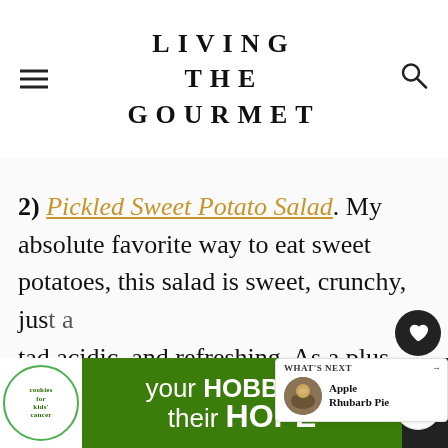LIVING THE GOURMET
2) Pickled Sweet Potato Salad. My absolute favorite way to eat sweet potatoes, this salad is sweet, crunchy, just a tad acidic, and refreshing. As a plus, letting it sit a night or two in the fridge only enhances the flavors, meaning its
[Figure (other): Advertisement banner: Cookies for Kids Cancer charity ad with text 'your HOBBY is their HOPE' on green background]